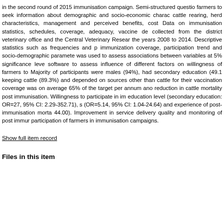in the second round of 2015 immunisation campaign. Semi-structured questio farmers to seek information about demographic and socio-economic charac cattle rearing, herd characteristics, management and perceived benefits, cost Data on immunisation statistics, schedules, coverage, adequacy, vaccine de collected from the district veterinary office and the Central Veterinary Resear the years 2008 to 2014. Descriptive statistics such as frequencies and p immunization coverage, participation trend and socio-demographic paramete was used to assess associations between variables at 5% significance leve software to assess influence of different factors on willingness of farmers to Majority of participants were males (94%), had secondary education (49.1 keeping cattle (89.3%) and depended on sources other than cattle for their vaccination coverage was on average 65% of the target per annum ano reduction in cattle mortality post immunisation. Willingness to participate in im education level (secondary education: OR=27, 95% CI: 2.29-352.71), s (OR=5.14, 95% CI: 1.04-24.64) and experience of post-immunisation morta 44.00). Improvement in service delivery quality and monitoring of post immur participation of farmers in immunisation campaigns.
Show full item record
Files in this item